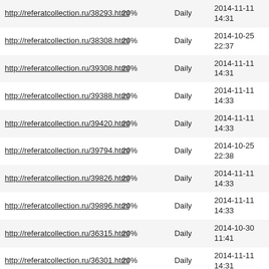| URL | Priority | Change Frequency | Last Modified |
| --- | --- | --- | --- |
| http://referatcollection.ru/38293.html | 20% | Daily | 2014-11-11 14:31 |
| http://referatcollection.ru/38308.html | 20% | Daily | 2014-10-25 22:37 |
| http://referatcollection.ru/39308.html | 20% | Daily | 2014-11-11 14:31 |
| http://referatcollection.ru/39388.html | 20% | Daily | 2014-11-11 14:33 |
| http://referatcollection.ru/39420.html | 20% | Daily | 2014-11-11 14:33 |
| http://referatcollection.ru/39794.html | 20% | Daily | 2014-10-25 22:38 |
| http://referatcollection.ru/39826.html | 20% | Daily | 2014-11-11 14:33 |
| http://referatcollection.ru/39896.html | 20% | Daily | 2014-11-11 14:33 |
| http://referatcollection.ru/36315.html | 20% | Daily | 2014-10-30 11:41 |
| http://referatcollection.ru/36301.html | 20% | Daily | 2014-11-11 14:31 |
| http://referatcollection.ru/33158.html | 20% | Daily | 2014-11-11 14:29 |
| http://referatcollection.ru/31006.html | 20% | Daily | 2014-10-30 11:37 |
| http://referatcollection.ru/31031.html | 20% | Daily | 2014-11-11 14:28 |